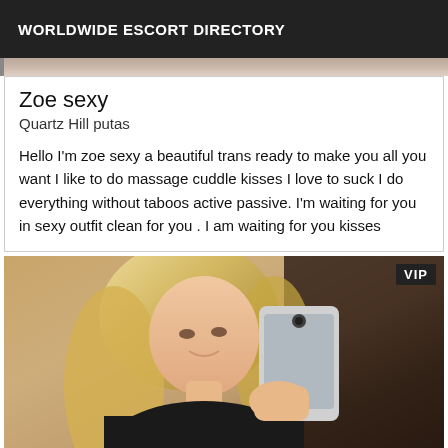WORLDWIDE ESCORT DIRECTORY
Zoe sexy
Quartz Hill putas
Hello I'm zoe sexy a beautiful trans ready to make you all you want I like to do massage cuddle kisses I love to suck I do everything without taboos active passive. I'm waiting for you in sexy outfit clean for you . I am waiting for you kisses
[Figure (photo): Photo of a blonde woman taking a selfie with a smartphone, wearing a black top, with a VIP badge in the top right corner]